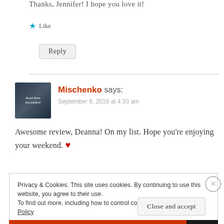Thanks, Jennifer! I hope you love it!
★ Like
Reply
Mischenko says:
September 9, 2018 at 4:33 am
Awesome review, Deanna! On my list. Hope you're enjoying your weekend. ❤
Privacy & Cookies: This site uses cookies. By continuing to use this website, you agree to their use.
To find out more, including how to control cookies, see here: Cookie Policy
Close and accept